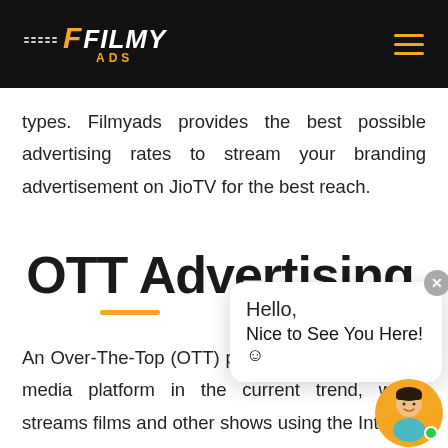Filmy ADS
types. Filmyads provides the best possible advertising rates to stream your branding advertisement on JioTV for the best reach.
OTT Advertising
An Over-The-Top (OTT) platform is the emerging media platform in the current trend, which streams films and other shows using the Internet. These platforms
Hello, Nice to See You Here! 😊